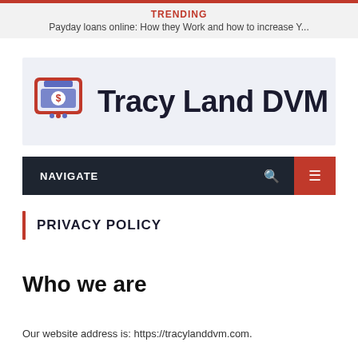TRENDING
Payday loans online: How they Work and how to increase Y...
[Figure (logo): Tracy Land DVM logo with ATM/payment card icon on left and bold dark text 'Tracy Land DVM' on right, on a light blue-grey background]
NAVIGATE
PRIVACY POLICY
Who we are
Our website address is: https://tracylanddvm.com.